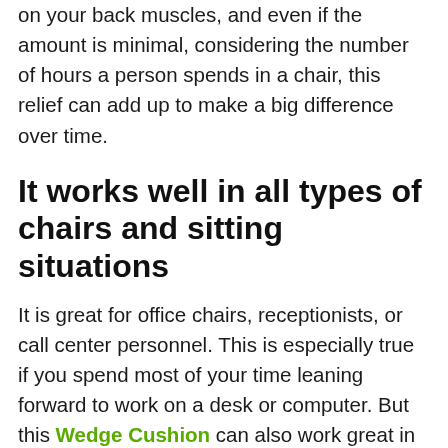on your back muscles, and even if the amount is minimal, considering the number of hours a person spends in a chair, this relief can add up to make a big difference over time.
It works well in all types of chairs and sitting situations
It is great for office chairs, receptionists, or call center personnel. This is especially true if you spend most of your time leaning forward to work on a desk or computer. But this Wedge Cushion can also work great in a car seat or driver's seat, or at home. Since they are lightweight and portable, there is also no reason you can't use this wedge cushion in multiple places by simply transporting it with